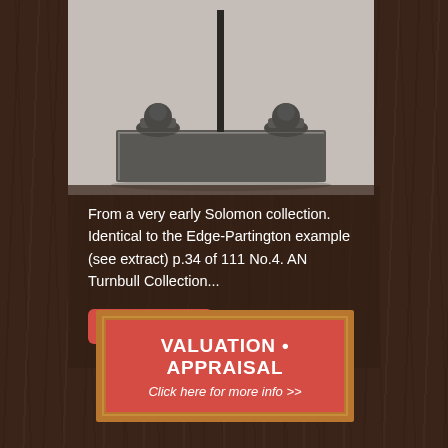[Figure (photo): Close-up photograph of a dark metal/bronze sculpture base on a rectangular flat platform, against a light grey background. Two rounded feet or bells visible at left and right, with a thin vertical rod or pole in the center.]
From a very early Solomon collection. Identical to the Edge-Partington example (see extract) p.34 of 111 No.4. AN Turnbull Collection...
Read More +
VALUATION • APPRAISAL
Click here for more info >>